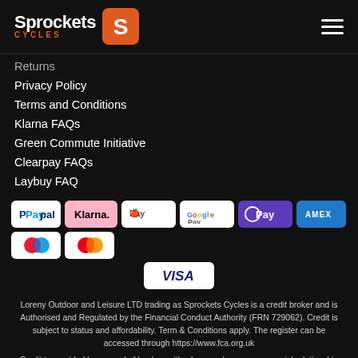[Figure (logo): Sprockets Cycles logo with orange S icon and hamburger menu]
Returns
Privacy Policy
Terms and Conditions
Klarna FAQs
Green Commute Initiative
Clearpay FAQs
Laybuy FAQ
[Figure (other): Payment method icons: PayPal, Klarna, Apple Pay, Google Pay, O Pay, AMEX, Maestro, Mastercard, VISA]
Loreny Outdoor and Leisure LTD trading as Sprockets Cycles is a credit broker and is Authorised and Regulated by the Financial Conduct Authority (FRN 729062). Credit is subject to status and affordability. Term & Conditions apply. The register can be accessed through https://www.fca.org.uk
Credit is provided by a panel of lenders with whom we have a commercial relationship (so we cannot provide independent advice).